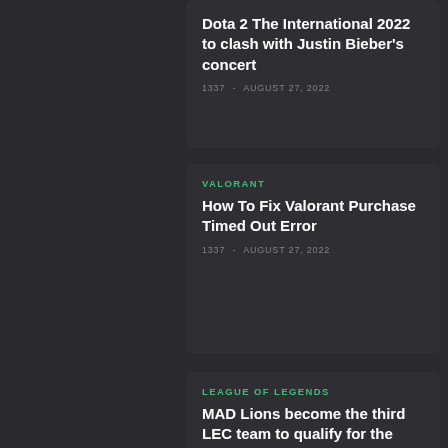Dota 2 The International 2022 to clash with Justin Bieber's concert
1337 - AUGUST 27, 2022
VALORANT
How To Fix Valorant Purchase Timed Out Error
1337 - AUGUST 27, 2022
LEAGUE OF LEGENDS
MAD Lions become the third LEC team to qualify for the 2022 League World Championships
1337 - AUGUST 27, 2022